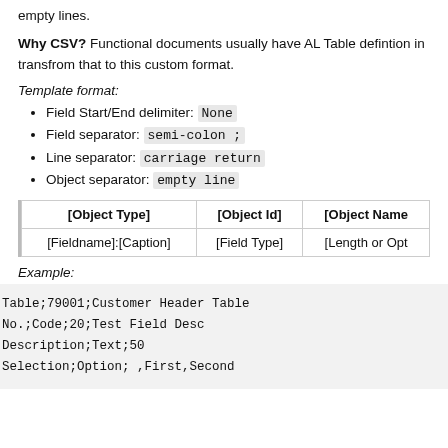empty lines.
Why CSV? Functional documents usually have AL Table defintion in transfrom that to this custom format.
Template format:
Field Start/End delimiter: None
Field separator: semi-colon ;
Line separator: carriage return
Object separator: empty line
| [Object Type] | [Object Id] | [Object Name] |
| --- | --- | --- |
| [Fieldname]:[Caption] | [Field Type] | [Length or Opt |
Example:
Table;79001;Customer Header Table
No.;Code;20;Test Field Desc
Description;Text;50
Selection;Option; ,First,Second